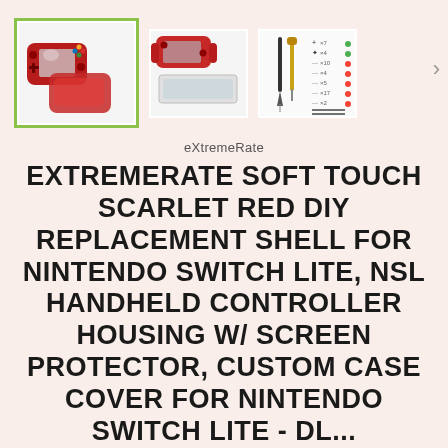[Figure (photo): Three product thumbnail images in a row: first (selected, green border) shows red Nintendo Switch Lite replacement shell; second shows disassembled red shell components with screen; third shows screwdrivers and hardware kit with parts list. A right arrow navigation indicator is visible to the right.]
eXtremeRate
EXTREMERATE SOFT TOUCH SCARLET RED DIY REPLACEMENT SHELL FOR NINTENDO SWITCH LITE, NSL HANDHELD CONTROLLER HOUSING W/ SCREEN PROTECTOR, CUSTOM CASE COVER FOR NINTENDO SWITCH LITE - DL...